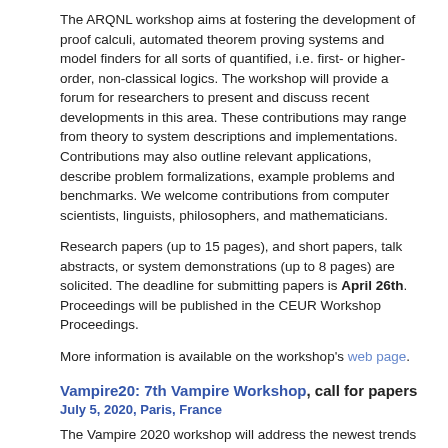The ARQNL workshop aims at fostering the development of proof calculi, automated theorem proving systems and model finders for all sorts of quantified, i.e. first- or higher-order, non-classical logics. The workshop will provide a forum for researchers to present and discuss recent developments in this area. These contributions may range from theory to system descriptions and implementations. Contributions may also outline relevant applications, describe problem formalizations, example problems and benchmarks. We welcome contributions from computer scientists, linguists, philosophers, and mathematicians.
Research papers (up to 15 pages), and short papers, talk abstracts, or system demonstrations (up to 8 pages) are solicited. The deadline for submitting papers is April 26th. Proceedings will be published in the CEUR Workshop Proceedings.
More information is available on the workshop's web page.
Vampire20: 7th Vampire Workshop, call for papers
July 5, 2020, Paris, France
The Vampire 2020 workshop will address the newest trends in implementing first-order theorem provers, and focus on new challenges and application areas.
Important Dates
Submission deadline: June 1, 2020
Notification of acceptance: June 6, 2020
Final paper submission: September 1, 2020 (tentative)